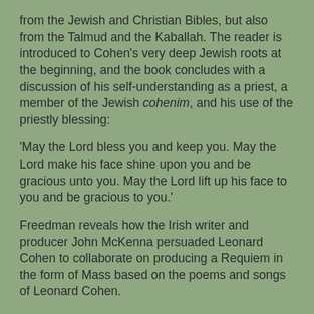from the Jewish and Christian Bibles, but also from the Talmud and the Kaballah. The reader is introduced to Cohen's very deep Jewish roots at the beginning, and the book concludes with a discussion of his self-understanding as a priest, a member of the Jewish cohenim, and his use of the priestly blessing:
'May the Lord bless you and keep you. May the Lord make his face shine upon you and be gracious unto you. May the Lord lift up his face to you and be gracious to you.'
Freedman reveals how the Irish writer and producer John McKenna persuaded Leonard Cohen to collaborate on producing a Requiem in the form of Mass based on the poems and songs of Leonard Cohen.
Five years ago, shortly before his death on 7 November 2016, Leonard Cohen approved John McKenna's final draft of the Requiem. Its premiere in Carlow on 15 June 2017 was attended by President Michel D Higgins and the Canadian Ambassador to Ireland, Kevin Vickers.